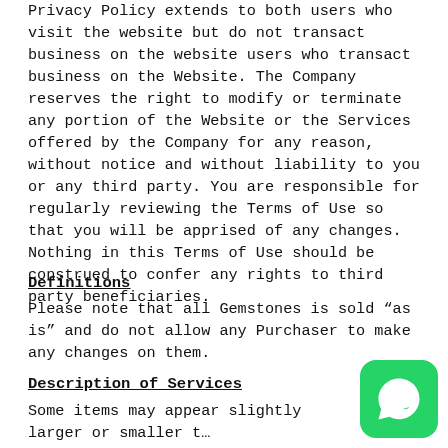Privacy Policy extends to both users who visit the website but do not transact business on the website users who transact business on the Website. The Company reserves the right to modify or terminate any portion of the Website or the Services offered by the Company for any reason, without notice and without liability to you or any third party. You are responsible for regularly reviewing the Terms of Use so that you will be apprised of any changes. Nothing in this Terms of Use should be construed to confer any rights to third party beneficiaries.
Definitions
Please note that all Gemstones is sold “as is” and do not allow any Purchaser to make any changes on them.
Description of Services
Some items may appear slightly larger or smaller than actual size due to screen defaults and photography
[Figure (other): WhatsApp contact button (green rounded square with WhatsApp phone icon)]